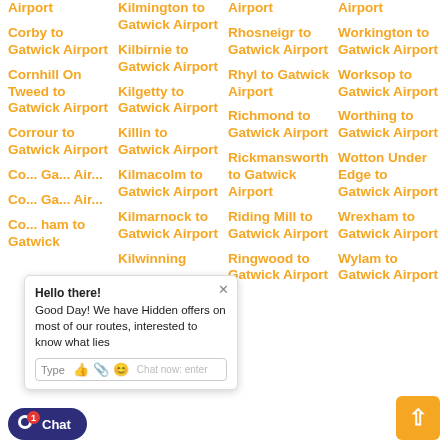Corby to Gatwick Airport
Cornhill On Tweed to Gatwick Airport
Corrour to Gatwick Airport
Corby... to Gatwick Airport
Corsham to Gatwick Airport
Kilmington to Gatwick Airport
Kilbirnie to Gatwick Airport
Kilgetty to Gatwick Airport
Killin to Gatwick Airport
Kilmacolm to Gatwick Airport
Kilmarnock to Gatwick Airport
Kilwinning
Rhosneigr to Gatwick Airport
Rhyl to Gatwick Airport
Richmond to Gatwick Airport
Rickmansworth to Gatwick Airport
Riding Mill to Gatwick Airport
Ringwood to Gatwick Airport
Workington to Gatwick Airport
Worksop to Gatwick Airport
Worthing to Gatwick Airport
Wotton Under Edge to Gatwick Airport
Wrexham to Gatwick Airport
Wylam to Gatwick Airport